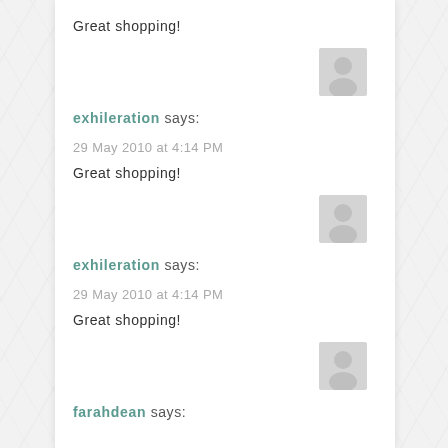Great shopping!
[Figure (illustration): Generic user avatar placeholder — gray silhouette of a person on light gray background]
exhileration says:
29 May 2010 at 4:14 PM
Great shopping!
[Figure (illustration): Generic user avatar placeholder — gray silhouette of a person on light gray background]
exhileration says:
29 May 2010 at 4:14 PM
Great shopping!
[Figure (illustration): Generic user avatar placeholder — gray silhouette of a person on light gray background]
farahdean says: